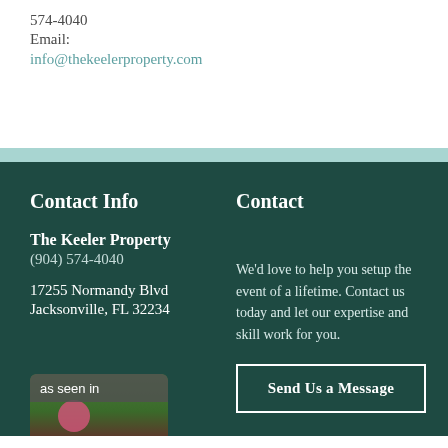574-4040
Email:
info@thekeelerproperty.com
Contact Info
Contact
The Keeler Property
(904) 574-4040
17255 Normandy Blvd
Jacksonville, FL 32234
We'd love to help you setup the event of a lifetime. Contact us today and let our expertise and skill work for you.
Send Us a Message
as seen in